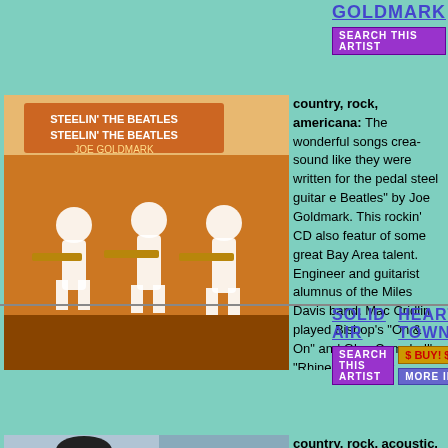GOLDMARK
BEATLES
SEARCH THIS ARTIST
$ BUY! $
MORE INFO
(US) - NEW ($9.00 with *discount)
[Figure (photo): Album cover for Steelin' The Beatles by Joe Goldmark]
country, rock, americana: The wonderful songs created by this band sound like they were written for the pedal steel guitar on Steelin' The Beatles by Joe Goldmark. This rockin' CD also features some of some great Bay Area talent. Engineer and guitarist alumnus of the Miles Davis band. Mac Cridlin played Bishop's "On & On" and Glen Campbell's "Rhinestone" Tony Williams' band. Billy Lee Lewis played drums wit. Potterton is a top country-rock guitarist, and Pete Elma three of his own highly acclaimed CDs.
SOLID AIR
HEARTBREAK TOWN
SEARCH THIS ARTIST
$ BUY! $
MORE INFO
CD: $10.00 (US) - NEW ($9.00 with *discount)
[Figure (photo): Album cover/artist photo for Solid Air - Heartbreak Town]
country, rock, acoustic, americana, folk: Brand new roots-based Sonoma County alternative folk group. "A British folk-rock duo Richard & Linda Thompson and T Brothers". Other comparisons range from pop-rock ico folk legends Ian & Sylvia. Solid Air is Allegra Broughto guitar) and Sam Page (vocals, co-writer, acoustic sta